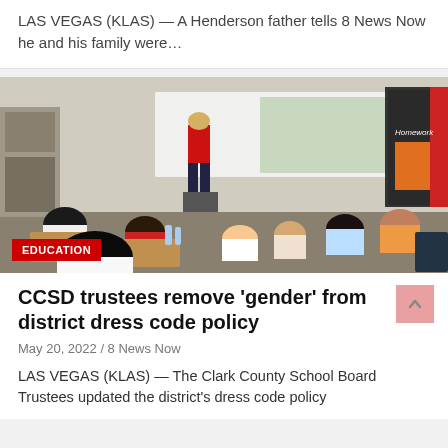LAS VEGAS (KLAS) — A Henderson father tells 8 News Now he and his family were…
[Figure (photo): Classroom photo showing a teacher in a red shirt standing at the front of the class near a whiteboard. Students are seated at desks and on the floor. A 'Homework' bulletin board is visible on the right wall. An EDUCATION badge/label overlays the bottom-left corner of the image.]
CCSD trustees remove 'gender' from district dress code policy
May 20, 2022 / 8 News Now
LAS VEGAS (KLAS) — The Clark County School Board Trustees updated the district's dress code policy